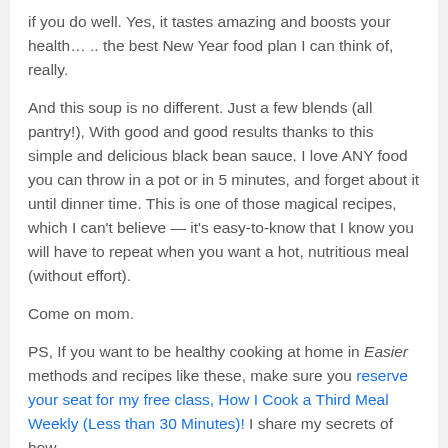if you do well. Yes, it tastes amazing and boosts your health… .. the best New Year food plan I can think of, really.
And this soup is no different. Just a few blends (all pantry!), With good and good results thanks to this simple and delicious black bean sauce. I love ANY food you can throw in a pot or in 5 minutes, and forget about it until dinner time. This is one of those magical recipes, which I can't believe — it's easy-to-know that I know you will have to repeat when you want a hot, nutritious meal (without effort).
Come on mom.
PS, If you want to be healthy cooking at home in Easier methods and recipes like these, make sure you reserve your seat for my free class, How I Cook a Third Meal Weekly (Less than 30 Minutes)! I share my secrets of how